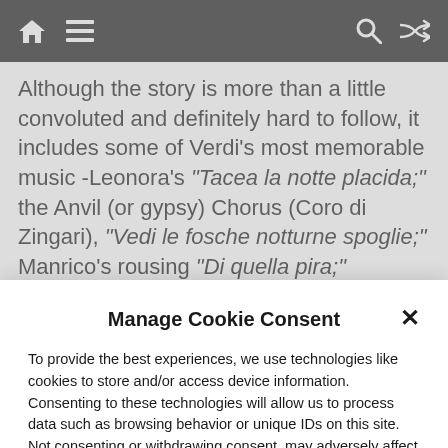Navigation bar with home, menu, search, and shuffle icons
Although the story is more than a little convoluted and definitely hard to follow, it includes some of Verdi's most memorable music -Leonora's “Tacea la notte placida;” the Anvil (or gypsy) Chorus (Coro di Zingari), “Vedi le fosche notturne spoglie;” Manrico’s rousing “Di quella pira;” Azucena’s chilling “Stride la
Manage Cookie Consent
To provide the best experiences, we use technologies like cookies to store and/or access device information. Consenting to these technologies will allow us to process data such as browsing behavior or unique IDs on this site. Not consenting or withdrawing consent, may adversely affect certain features and functions.
Accept
Cookie Policy